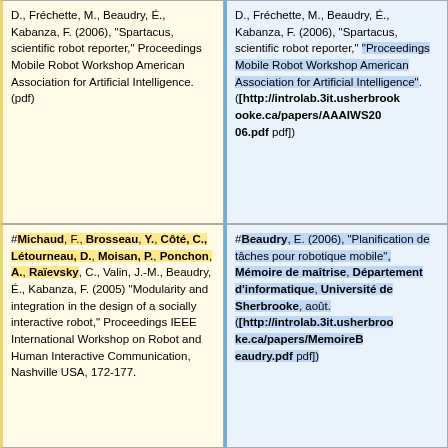D., Frechette, M., Beaudry, É., Kabanza, F. (2006), "Spartacus, scientific robot reporter," Proceedings Mobile Robot Workshop American Association for Artificial Intelligence. (pdf)
D., Frechette, M., Beaudry, É., Kabanza, F. (2006), "Spartacus, scientific robot reporter," "Proceedings Mobile Robot Workshop American Association for Artificial Intelligence". ([http://introlab.3it.usherbrooke.ca/papers/AAAIWS2006.pdf pdf])
#Michaud, F., Brosseau, Y., Côté, C., Létourneau, D., Moisan, P., Ponchon, A., Raïevsky, C., Valin, J.-M., Beaudry, É., Kabanza, F. (2005) "Modularity and integration in the design of a socially interactive robot," Proceedings IEEE International Workshop on Robot and Human Interactive Communication, Nashville USA, 172-177.
#Beaudry, E. (2006), "Planification de tâches pour robotique mobile", Mémoire de maîtrise, Département d'informatique, Université de Sherbrooke, août. ([http://introlab.3it.usherbrooke.ca/papers/MemoireBeaudry.pdf pdf])